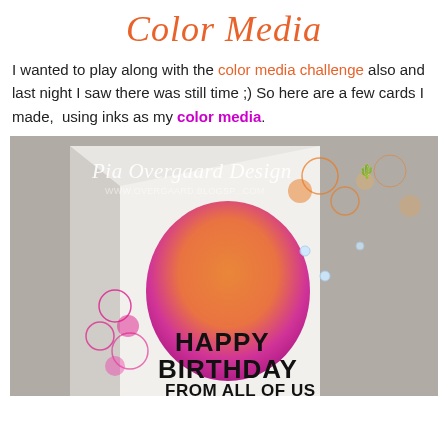Color Media
I wanted to play along with the color media challenge also and last night I saw there was still time ;) So here are a few cards I made,  using inks as my color media.
[Figure (photo): A handmade birthday card angled on a gray surface, featuring orange and magenta ink blending with circular bubble stamp motifs and text reading HAPPY BIRTHDAY FROM ALL OF US. Watermark reads Pia Overgaard Design with website URL.]